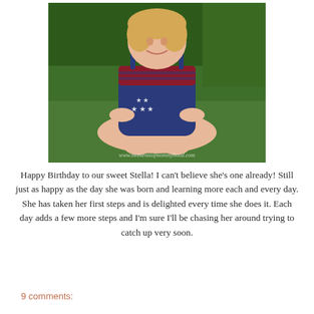[Figure (photo): A toddler girl sitting cross-legged on green grass, wearing a navy blue star-patterned romper with red smocked top. She appears happy. Watermark reads www.momentsofmommyhood.com.]
Happy Birthday to our sweet Stella! I can't believe she's one already! Still just as happy as the day she was born and learning more each and every day. She has taken her first steps and is delighted every time she does it. Each day adds a few more steps and I'm sure I'll be chasing her around trying to catch up very soon.
9 comments: